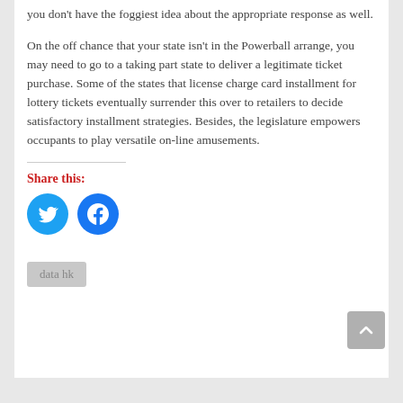you don't have the foggiest idea about the appropriate response as well.
On the off chance that your state isn't in the Powerball arrange, you may need to go to a taking part state to deliver a legitimate ticket purchase. Some of the states that license charge card installment for lottery tickets eventually surrender this over to retailers to decide satisfactory installment strategies. Besides, the legislature empowers occupants to play versatile on-line amusements.
Share this:
[Figure (other): Twitter and Facebook share icon buttons (circular blue icons)]
data hk